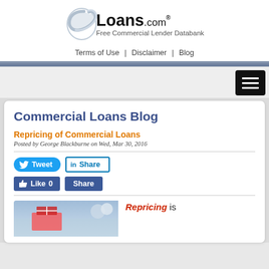[Figure (logo): CLoans.com logo with stylized C and text 'Loans.com® Free Commercial Lender Databank']
Terms of Use | Disclaimer | Blog
Commercial Loans Blog
Repricing of Commercial Loans
Posted by George Blackburne on Wed, Mar 30, 2016
[Figure (screenshot): Tweet and LinkedIn Share social media buttons]
[Figure (screenshot): Facebook Like 0 and Share buttons]
[Figure (photo): Photo of money/finance related image]
Repricing is